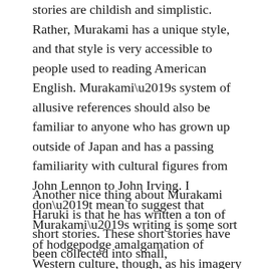stories are childish and simplistic. Rather, Murakami has a unique style, and that style is very accessible to people used to reading American English. Murakami’s system of allusive references should also be familiar to anyone who has grown up outside of Japan and has a passing familiarity with cultural figures from John Lennon to John Irving. I don’t mean to suggest that Murakami’s writing is some sort of hodgepodge amalgamation of Western culture, though, as his imagery and analogies and narrative structures are definitely his own.
Another nice thing about Murakami Haruki is that he has written a ton of short stories. These short stories have been collected into small,